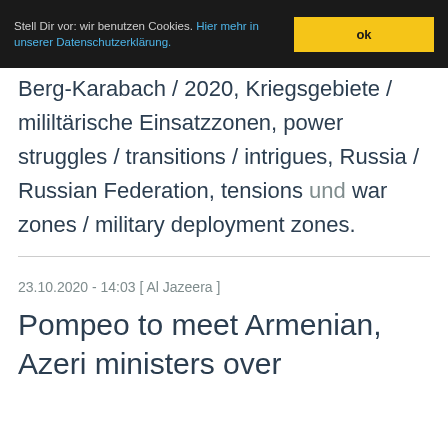Stell Dir vor: wir benutzen Cookies. Hier mehr in unserer Datenschutzerklärung. ok
Berg-Karabach / 2020, Kriegsgebiete / mililtärische Einsatzzonen, power struggles / transitions / intrigues, Russia / Russian Federation, tensions und war zones / military deployment zones.
23.10.2020 - 14:03 [ Al Jazeera ]
Pompeo to meet Armenian, Azeri ministers over